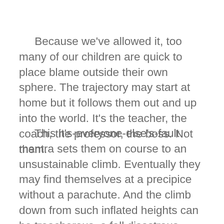Because we've allowed it, too many of our children are quick to place blame outside their own sphere. The trajectory may start at home but it follows them out and up into the world. It's the teacher, the coach, the professor, the boss. Not them.
This it's-everyone-else's-fault mantra sets them on course to an unsustainable climb. Eventually they may find themselves at a precipice without a parachute. And the climb down from such inflated heights can be treacherous, a fall disastrous.